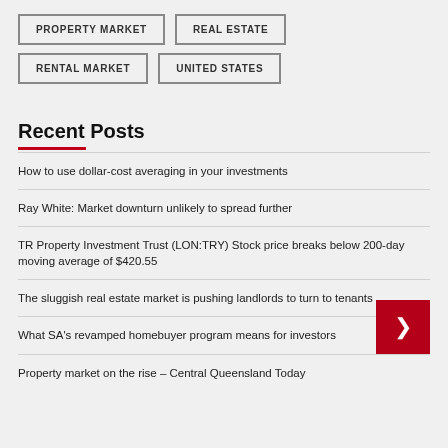PROPERTY MARKET
REAL ESTATE
RENTAL MARKET
UNITED STATES
Recent Posts
How to use dollar-cost averaging in your investments
Ray White: Market downturn unlikely to spread further
TR Property Investment Trust (LON:TRY) Stock price breaks below 200-day moving average of $420.55
The sluggish real estate market is pushing landlords to turn to tenants
What SA's revamped homebuyer program means for investors
Property market on the rise – Central Queensland Today